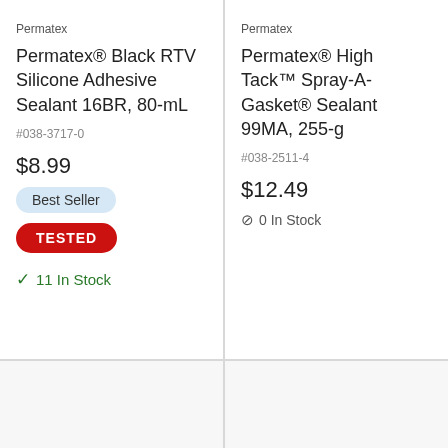Permatex
Permatex® Black RTV Silicone Adhesive Sealant 16BR, 80-mL
#038-3717-0
$8.99
Best Seller
TESTED
✓ 11 In Stock
Permatex
Permatex® High Tack™ Spray-A-Gasket® Sealant 99MA, 255-g
#038-2511-4
$12.49
⊘ 0 In Stock